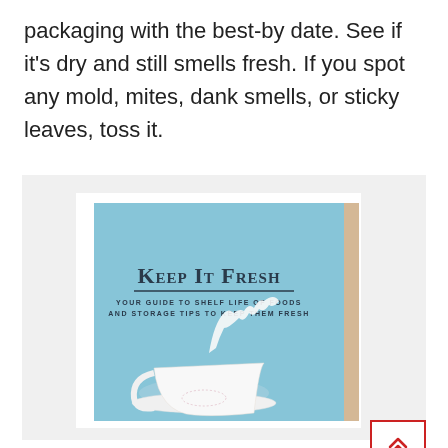packaging with the best-by date. See if it's dry and still smells fresh. If you spot any mold, mites, dank smells, or sticky leaves, toss it.
[Figure (photo): Book cover of 'Keep It Fresh – Your Guide to Shelf Life of Foods and Storage Tips to Keep Them Fresh', featuring a teacup with milk splashing on a light blue background.]